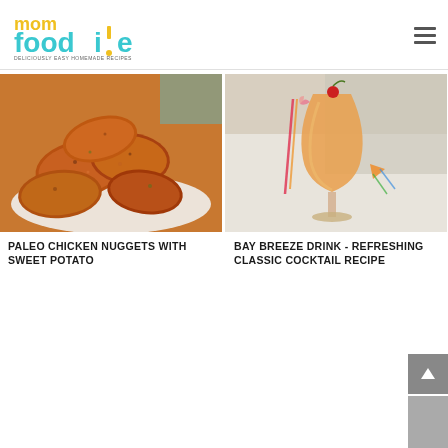mom foodie - DELICIOUSLY EASY HOMEMADE RECIPES
[Figure (photo): A pile of golden-brown paleo chicken nuggets made with sweet potato on a white plate]
PALEO CHICKEN NUGGETS WITH SWEET POTATO
[Figure (photo): A tall hurricane glass filled with orange bay breeze cocktail, garnished with a cherry and decorative umbrella, with straws and party decorations nearby]
BAY BREEZE DRINK - REFRESHING CLASSIC COCKTAIL RECIPE